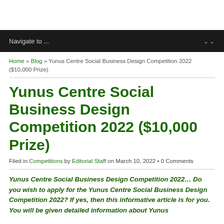Navigate to ...
Home » Blog » Yunus Centre Social Business Design Competition 2022 ($10,000 Prize)
Yunus Centre Social Business Design Competition 2022 ($10,000 Prize)
Filed in Competitions by Editorial Staff on March 10, 2022 • 0 Comments
Yunus Centre Social Business Design Competition 2022… Do you wish to apply for the Yunus Centre Social Business Design Competition 2022? If yes, then this informative article is for you. You will be given detailed information about Yunus